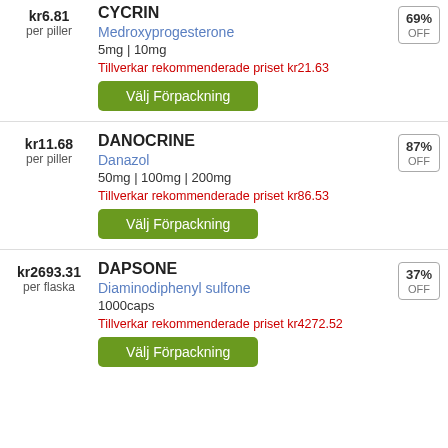kr6.81 per piller
CYCRIN
Medroxyprogesterone
5mg | 10mg
Tillverkar rekommenderade priset kr21.63
69% OFF
kr11.68 per piller
DANOCRINE
Danazol
50mg | 100mg | 200mg
Tillverkar rekommenderade priset kr86.53
87% OFF
kr2693.31 per flaska
DAPSONE
Diaminodiphenyl sulfone
1000caps
Tillverkar rekommenderade priset kr4272.52
37% OFF